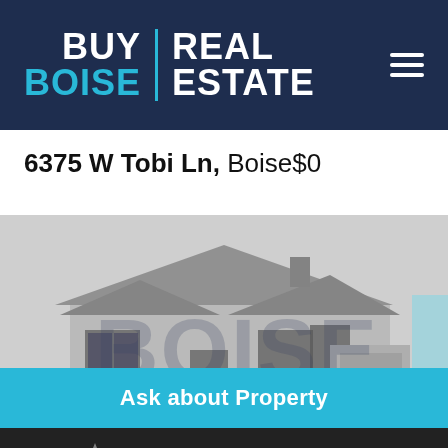BUY BOISE | REAL ESTATE
6375 W Tobi Ln, Boise$0
[Figure (photo): Blurry exterior photo of a large residential house with gabled roof and a watermark overlay reading 'BOISE']
Ask about Property
Bottom toolbar with star, share, and print icons